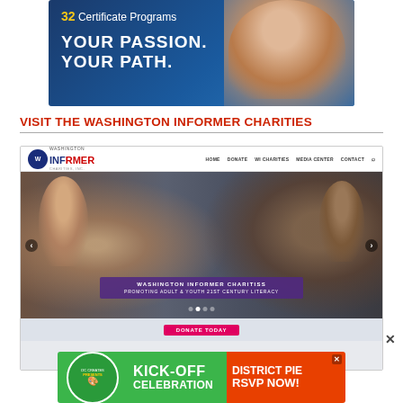[Figure (photo): Advertisement banner: blue background with nurse/medical professional, text '32 Certificate Programs YOUR PASSION. YOUR PATH.']
VISIT THE WASHINGTON INFORMER CHARITIES
[Figure (screenshot): Screenshot of Washington Informer Charities website with navigation bar (HOME, DONATE, WI CHARITIES, MEDIA CENTER, CONTACT), a hero image of children doing science experiments, overlay text 'WASHINGTON INFORMER CHARITISS PROMOTING ADULT & YOUTH 21ST CENTURY LITERACY', and a DONATE TODAY button.]
[Figure (photo): Advertisement banner: green and orange, 'KICK-OFF CELEBRATION DISTRICT PIE RSVP NOW!' with circular badge logo on left.]